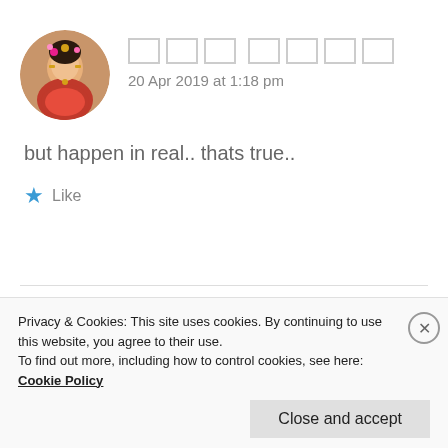[Figure (photo): Circular avatar of a woman in traditional Indian attire with jewelry and flowers]
[redacted name boxes]
20 Apr 2019 at 1:18 pm
but happen in real.. thats true..
★ Like
[Figure (photo): Circular avatar of a person with dark hair wearing a hat]
ZEALOUS HOMO SAPIENS
20 Apr 2019 at 1:19 pm
Privacy & Cookies: This site uses cookies. By continuing to use this website, you agree to their use.
To find out more, including how to control cookies, see here: Cookie Policy
Close and accept